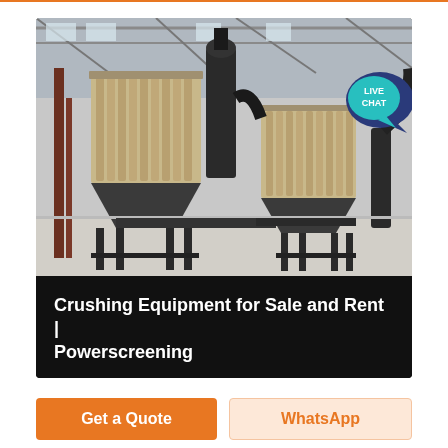[Figure (photo): Industrial dust collector / crushing equipment inside a large warehouse facility. Multiple large cylindrical filter units on metal frames with hopper bases are visible, along with conveyor and support structures on a concrete floor under a metal roof.]
Crushing Equipment for Sale and Rent | Powerscreening
Get a Quote
WhatsApp